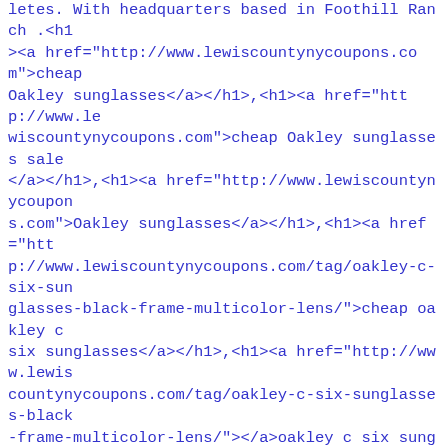letes. With headquarters based in Foothill Ranch .<h1><a href="http://www.lewiscountynycoupons.com">cheap Oakley sunglasses</a></h1>,<h1><a href="http://www.lewiscountynycoupons.com">cheap Oakley sunglasses sale</a></h1>,<h1><a href="http://www.lewiscountynycoupons.com">Oakley sunglasses</a></h1>,<h1><a href="http://www.lewiscountynycoupons.com/tag/oakley-c-six-sunglasses-black-frame-multicolor-lens/">cheap oakley c six sunglasses</a></h1>,<h1><a href="http://www.lewiscountynycoupons.com/tag/oakley-c-six-sunglasses-black-frame-multicolor-lens/"></a>oakley c six sunglasses</h1>,<h1><a href="http://www.lewiscountynycoupons.com/tag/buy-cheap-oakley-sunglasses-black-frame/">oakley black frame</a></h1>,<h1><a href="http://www.lewiscountynycoupons.com/tag/oakley-sunglasses-lens/">oakley sunglasses lens</a></h1>,<h1><a href="http://www.lewiscountynycoupons.com/tag/oakley-a-frame/"></a>oakley a frame</h1>,<h1><a href="http://www.lewiscountynycoupons.com/category/oakley-sunglasses/">oakley sunglasses outlet</a></h1>Shield your face from the sun's rays with Oakley sunglasses for men and women. Browse a selection of sunglasses styles by Oakley at Dick's Sporting Goods.http://www.lewiscountynycoupons.com/category/oakley-sunglasses/>Oakley sunglasses outlet,http://www.lewiscountynycoupons.com/tag/oakley-c-six-sunglasses-black-frame-multicolor-lens  cheap oakley c six sunglasses|oakley c six sunglasses,http://www.lewiscountynycoupons.com/tag/buy-cheap-oakley-sunglasses-black-frame/ oakley black frame,http://www.lewiscountynycoupons.com/tag/oakley-sunglasses-lens/ oakley su